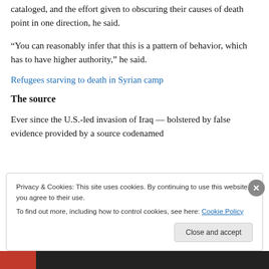cataloged, and the effort given to obscuring their causes of death point in one direction, he said.
“You can reasonably infer that this is a pattern of behavior, which has to have higher authority,” he said.
Refugees starving to death in Syrian camp
The source
Ever since the U.S.-led invasion of Iraq — bolstered by false evidence provided by a source codenamed
Privacy & Cookies: This site uses cookies. By continuing to use this website, you agree to their use.
To find out more, including how to control cookies, see here: Cookie Policy
Close and accept